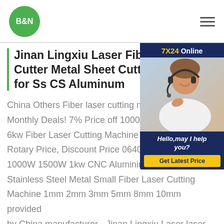[Figure (logo): B&N logo: white bold text on green circle]
Jinan Lingxiu Laser Fiber Laser Cutter Metal Sheet Cutting Machine for Ss CS Aluminum
[Figure (photo): Customer service representative with headset, 7X24 Online chat widget with 'Hello, may I help you?' message and 'Get Latest Price' button]
China Others Fiber laser cutting machine Monthly Deals! 7% Price off 1000W 2000W 6kw Fiber Laser Cutting Machine Iron Steel Rotary Price, Discount Price 0640 6000W 1000W 1500W 1kw CNC Aluminium Copper Stainless Steel Metal Small Fiber Laser Cutting Machine 1mm 2mm 3mm 5mm 8mm 10mm provided by China manufacturer - Jinan Lingxiu Laser laser cutting service near melaser cutting service in